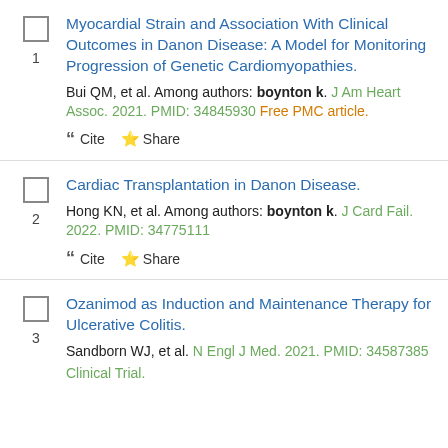1. Myocardial Strain and Association With Clinical Outcomes in Danon Disease: A Model for Monitoring Progression of Genetic Cardiomyopathies. Bui QM, et al. Among authors: boynton k. J Am Heart Assoc. 2021. PMID: 34845930 Free PMC article.
2. Cardiac Transplantation in Danon Disease. Hong KN, et al. Among authors: boynton k. J Card Fail. 2022. PMID: 34775111
3. Ozanimod as Induction and Maintenance Therapy for Ulcerative Colitis. Sandborn WJ, et al. N Engl J Med. 2021. PMID: 34587385 Clinical Trial.